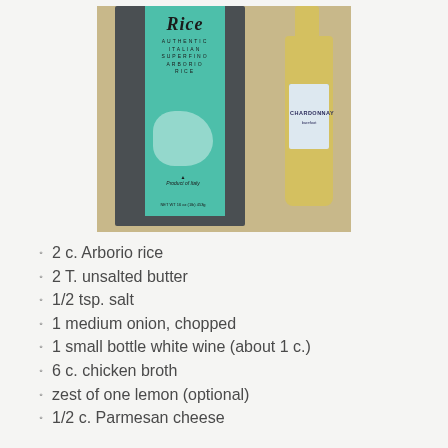[Figure (photo): Photo of a package of Authentic Italian Superfino Arborio Rice (Product of Italy, NET WT 16oz/1lb/453g) next to a small bottle of Barefoot Chardonnay white wine, both sitting on a countertop.]
2 c. Arborio rice
2 T. unsalted butter
1/2 tsp. salt
1 medium onion, chopped
1 small bottle white wine (about 1 c.)
6 c. chicken broth
zest of one lemon (optional)
1/2 c. Parmesan cheese